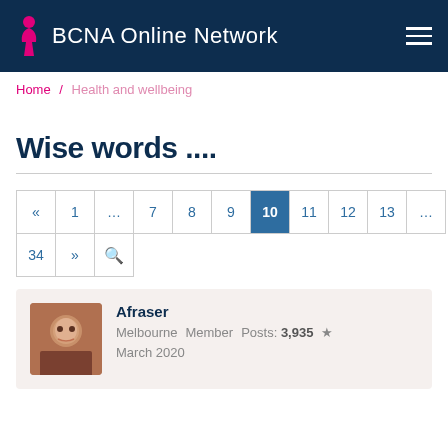BCNA Online Network
Home / Health and wellbeing
Wise words ....
Pagination: « 1 … 7 8 9 10 11 12 13 … 34 » [search]
Afraser
Melbourne Member Posts: 3,935 ★
March 2020